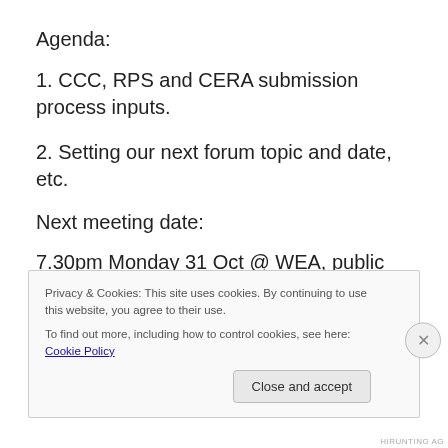Agenda:
1. CCC, RPS and CERA submission process inputs.
2. Setting our next forum topic and date, etc.
Next meeting date:
7.30pm Monday 31 Oct @ WEA, public meeting about the general issue of land “Zoning” and planning post-quake: rehousing for affected residents ; the proposed Avon-Otakaro Park and the range of nearby hazards ; protecting
Privacy & Cookies: This site uses cookies. By continuing to use this website, you agree to their use.
To find out more, including how to control cookies, see here: Cookie Policy
Close and accept